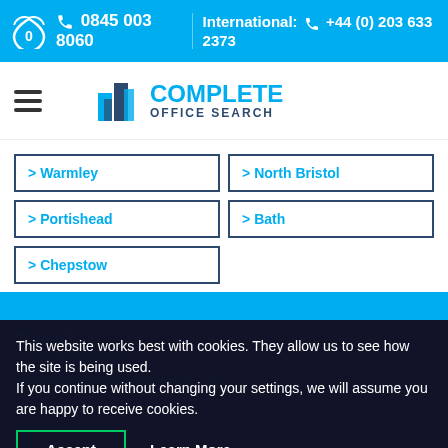0845 003 8060   International: +44 (0) 203 633 2373
[Figure (logo): Complete Office Search logo with building icon]
> Warmley
> North Bristol
> Portishead
> Bath
> Chepstow
Contact:
This website works best with cookies. They allow us to see how the site is being used.
If you continue without changing your settings, we will assume you are happy to receive cookies.
0845 003 8060
info@completeofficesearch.com
Terms and Conditions   Privacy Policy